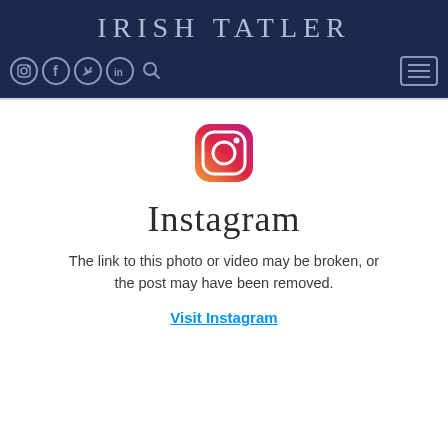IRISH TATLER
[Figure (screenshot): Irish Tatler website header with dark navy background, social media icons (Instagram, Facebook, Twitter, LinkedIn, Search), and hamburger menu button]
[Figure (logo): Instagram logo icon with gradient colors (purple, orange, yellow)]
Instagram
The link to this photo or video may be broken, or the post may have been removed.
Visit Instagram